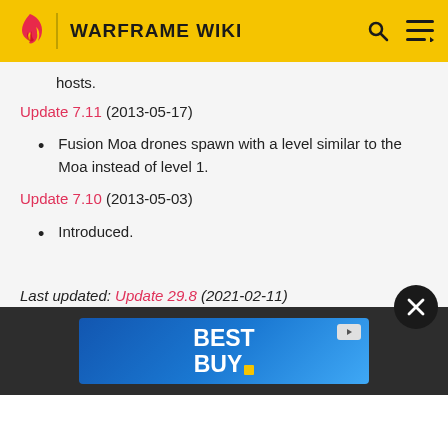WARFRAME WIKI
hosts.
Update 7.11 (2013-05-17)
Fusion Moa drones spawn with a level similar to the Moa instead of level 1.
Update 7.10 (2013-05-03)
Introduced.
Last updated: Update 29.8 (2021-02-11)
[Figure (screenshot): Best Buy advertisement banner in the bottom bar of the Warframe Wiki page]